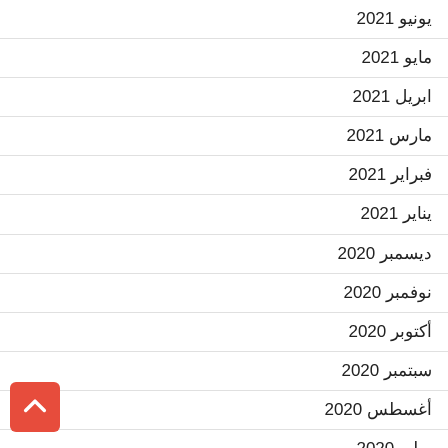يونيو 2021
مايو 2021
ابريل 2021
مارس 2021
فبراير 2021
يناير 2021
ديسمبر 2020
نوفمبر 2020
أكتوبر 2020
سبتمبر 2020
أغسطس 2020
يوليو 2020
يونيو 2020
مايو 2020
ابريل 2020